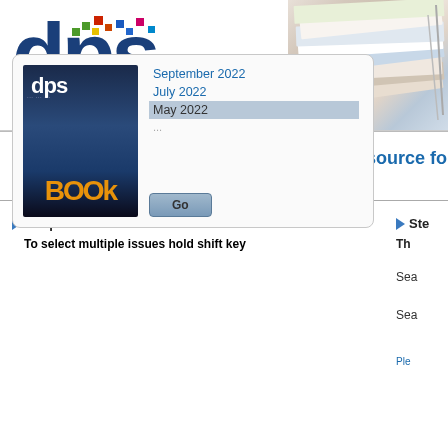[Figure (logo): DPS Digital Publishing Solutions logo with colorful pixel dots above letters and tagline DIGITAL PUBLISHING SOLUTIONS / DIGITAL PRINT, PACKAGING, AND PUBLISHING]
[Figure (photo): Stack of magazines/publications on the right side of the header]
Welcome to Digital Publishing Solutions' source for w...
Step1. Select one or more issues then click Go
To select multiple issues hold shift key
[Figure (screenshot): Issue selection panel with DPS magazine cover and list showing September 2022, July 2022, May 2022 (selected), and a Go button]
Ste...
Th...
Sea...
Sea...
Ple...